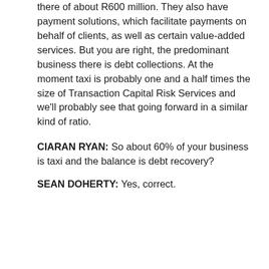there of about R600 million. They also have payment solutions, which facilitate payments on behalf of clients, as well as certain value-added services. But you are right, the predominant business there is debt collections. At the moment taxi is probably one and a half times the size of Transaction Capital Risk Services and we'll probably see that going forward in a similar kind of ratio.
CIARAN RYAN: So about 60% of your business is taxi and the balance is debt recovery?
SEAN DOHERTY: Yes, correct.